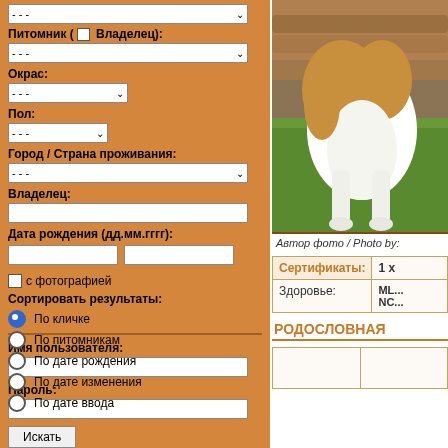- - -  (dropdown)
Питомник ( Владелец):
- - -  (dropdown)
Окрас:
- - -  (dropdown)
Пол:
- - -  (dropdown)
Город / Страна проживания:
- - -  (dropdown)
Владелец:
Дата рождения (дд.мм.гггг):
с фотографией
Сортировать результаты:
По кличке
По питомникам
По дате рождения
По дате изменения
По дате ввода
Искать
Имя пользователя:
Пароль:
[Figure (photo): Photo of a dog (beagle-type, brown and white) standing on green artificial grass near wooden logs]
Автор фото / Photo by:
| Сертификаты: | 1 x ... |
| --- | --- |
| Здоровье: | ML... NC... |
РОДОСЛОВНАЯ
|  |  |